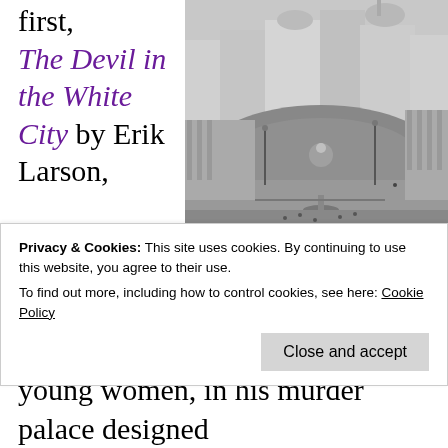first, The Devil in the White City by Erik Larson,
[Figure (photo): Black and white aerial photograph of the 1893 World's Fair fairgrounds in Chicago, showing grand neoclassical buildings, a large lagoon/basin with fountains, and crowds of people along the promenade.]
talks about Chicago as the site of the 1893 World's Fair. The work it took to build the fairgrounds while the dark machinations of H
Privacy & Cookies: This site uses cookies. By continuing to use this website, you agree to their use.
To find out more, including how to control cookies, see here: Cookie Policy
Close and accept
young women, in his murder palace designed